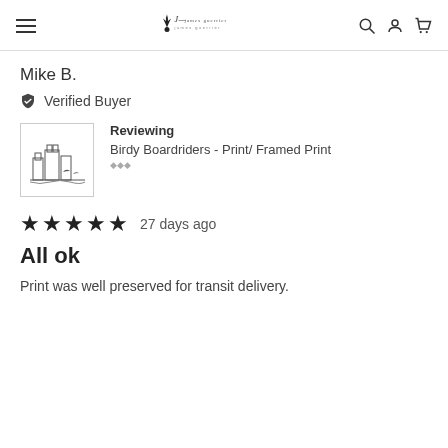James Guerrier — website header with hamburger menu, logo, search, account, and cart icons
Mike B.
Verified Buyer
Reviewing
[Figure (illustration): Small product thumbnail showing Birdy Boardriders artwork — line drawing of birds on surfboards]
Birdy Boardriders - Print/ Framed Print
★★★★★ 27 days ago
All ok
Print was well preserved for transit delivery.